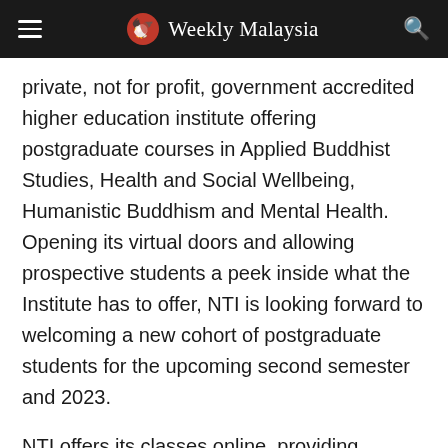Weekly Malaysia
private, not for profit, government accredited higher education institute offering postgraduate courses in Applied Buddhist Studies, Health and Social Wellbeing, Humanistic Buddhism and Mental Health. Opening its virtual doors and allowing prospective students a peek inside what the Institute has to offer, NTI is looking forward to welcoming a new cohort of postgraduate students for the upcoming second semester and 2023.
NTI offers its classes online, providing convenience and flexibility and encouraging students to actively engage in a virtual space. This open day will be no different.  The Virtual Open Day offers students information regarding NTI and its programs. Prospective students can get answers to their questions about courses and study, and participate in a